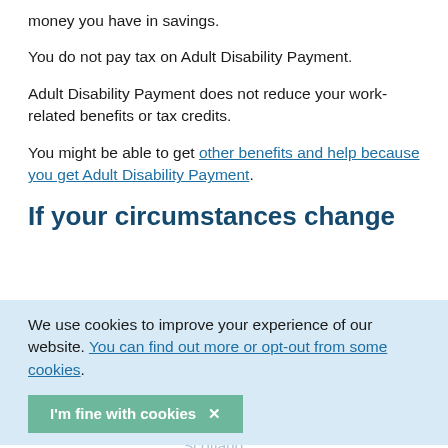money you have in savings.
You do not pay tax on Adult Disability Payment.
Adult Disability Payment does not reduce your work-related benefits or tax credits.
You might be able to get other benefits and help because you get Adult Disability Payment.
If your circumstances change
We use cookies to improve your experience of our website. You can find out more or opt-out from some cookies.
I'm fine with cookies ×